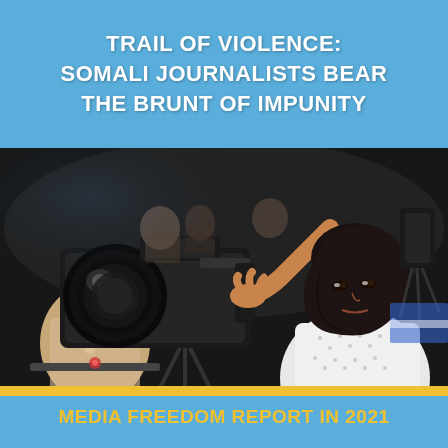TRAIL OF VIOLENCE: SOMALI JOURNALISTS BEAR THE BRUNT OF IMPUNITY
[Figure (photo): A female Somali journalist wearing a dark hijab and white embroidered top operating a professional video camera on a tripod at what appears to be a press event. Other camera operators and attendees are visible in the background.]
MEDIA FREEDOM REPORT IN 2021